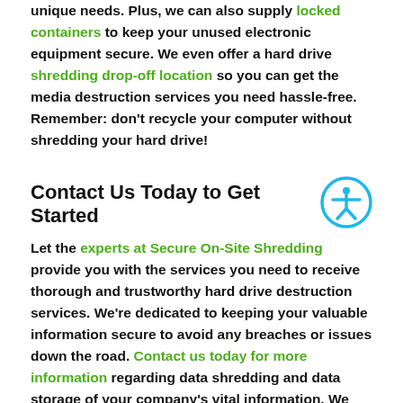unique needs. Plus, we can also supply locked containers to keep your unused electronic equipment secure. We even offer a hard drive shredding drop-off location so you can get the media destruction services you need hassle-free. Remember: don't recycle your computer without shredding your hard drive!
Contact Us Today to Get Started
Let the experts at Secure On-Site Shredding provide you with the services you need to receive thorough and trustworthy hard drive destruction services. We're dedicated to keeping your valuable information secure to avoid any breaches or issues down the road. Contact us today for more information regarding data shredding and data storage of your company's vital information. We look forward to assisting you.